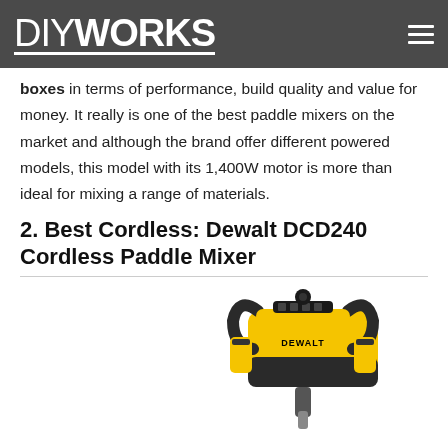DIYWORKS
boxes in terms of performance, build quality and value for money. It really is one of the best paddle mixers on the market and although the brand offer different powered models, this model with its 1,400W motor is more than ideal for mixing a range of materials.
2. Best Cordless: Dewalt DCD240 Cordless Paddle Mixer
[Figure (photo): Yellow and black Dewalt DCD240 cordless paddle mixer tool shown from above against white background]